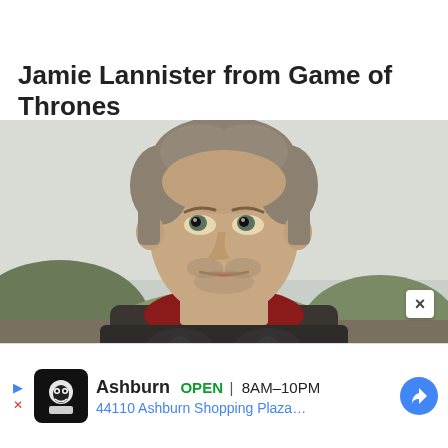Jamie Lannister from Game of Thrones
[Figure (photo): Close-up photo of Jaime Lannister character from Game of Thrones, wearing dark metal armor with a red scarf/collar, looking upward with a serious expression, outdoor background with greenery and overcast sky.]
× (close button)
▶ ✕ (ad navigation arrows)
[Figure (logo): Black square icon with a cartoon face/skull logo for a shop]
Ashburn OPEN 8AM–10PM 44110 Ashburn Shopping Plaza…